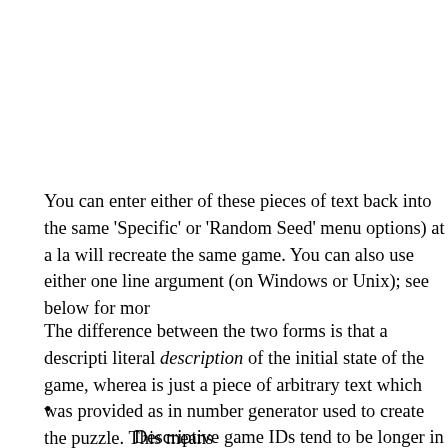You can enter either of these pieces of text back into the same 'Specific' or 'Random Seed' menu options) at a la will recreate the same game. You can also use either one line argument (on Windows or Unix); see below for mor
The difference between the two forms is that a descripti literal description of the initial state of the game, wherea is just a piece of arbitrary text which was provided as in number generator used to create the puzzle. This means
Descriptive game IDs tend to be longer in many pu some, such as Cube (sat-cube(6)), only need very